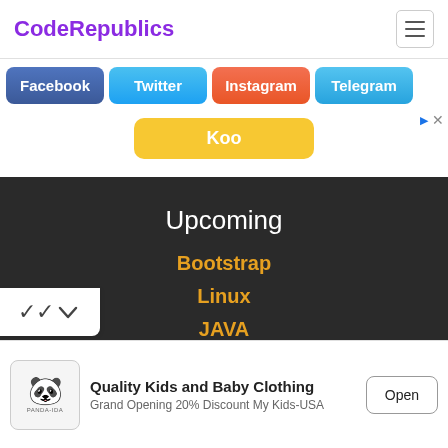CodeRepublics
Facebook
Twitter
Instagram
Telegram
Koo
Upcoming
Bootstrap
Linux
JAVA
Quality Kids and Baby Clothing
Grand Opening 20% Discount My Kids-USA